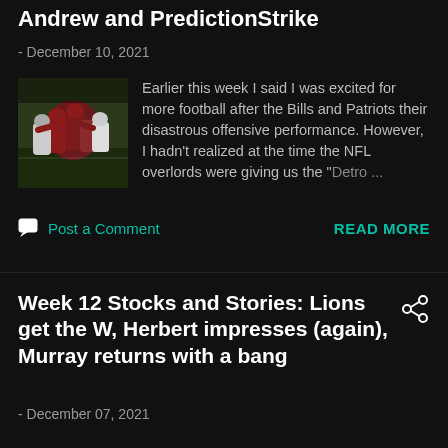Andrew and PredictionStrike
- December 10, 2021
[Figure (photo): Football game action photo showing players in red/maroon and white uniforms tackling each other]
Earlier this week I said I was excited for more football after the Bills and Patriots their disastrous offensive performance. However, I hadn't realized at the time the NFL overlords were giving us the "Detro ...
Post a Comment
READ MORE
Week 12 Stocks and Stories: Lions get the W, Herbert impresses (again), Murray returns with a bang
- December 07, 2021